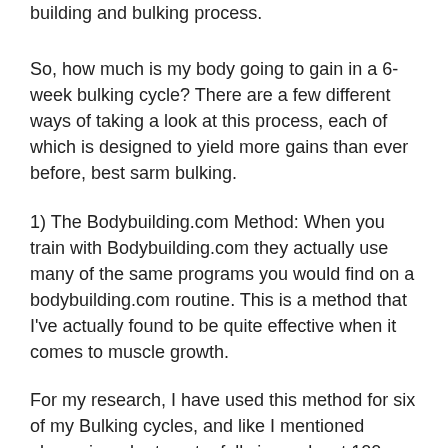building and bulking process.
So, how much is my body going to gain in a 6-week bulking cycle? There are a few different ways of taking a look at this process, each of which is designed to yield more gains than ever before, best sarm bulking.
1) The Bodybuilding.com Method: When you train with Bodybuilding.com they actually use many of the same programs you would find on a bodybuilding.com routine. This is a method that I've actually found to be quite effective when it comes to muscle growth.
For my research, I have used this method for six of my Bulking cycles, and like I mentioned above, in order to get a full six weeks at 100 percent, I needed to bulk twice